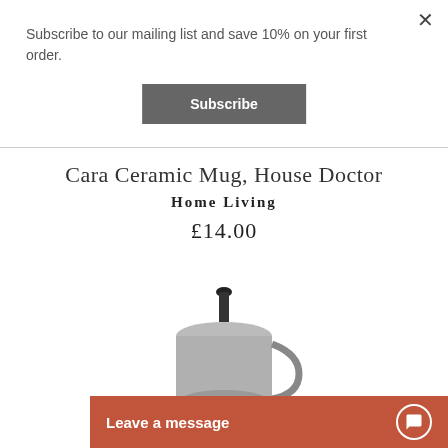Subscribe to our mailing list and save 10% on your first order.
×
Subscribe
Cara Ceramic Mug, House Doctor
Home Living
£14.00
[Figure (photo): Partial view of a ceramic mug with dark handle at the bottom of the page]
Leave a message